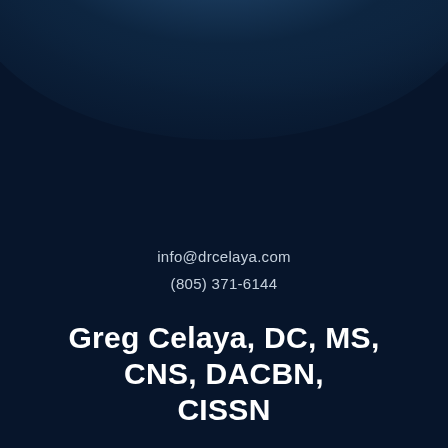info@drcelaya.com
(805) 371-6144
Greg Celaya, DC, MS, CNS, DACBN, CISSN